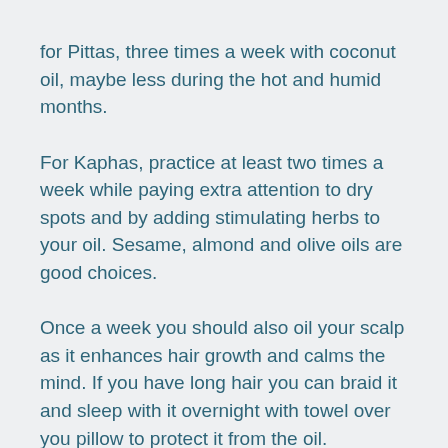for Pittas, three times a week with coconut oil, maybe less during the hot and humid months.
For Kaphas, practice at least two times a week while paying extra attention to dry spots and by adding stimulating herbs to your oil. Sesame, almond and olive oils are good choices.
Once a week you should also oil your scalp as it enhances hair growth and calms the mind. If you have long hair you can braid it and sleep with it overnight with towel over you pillow to protect it from the oil.